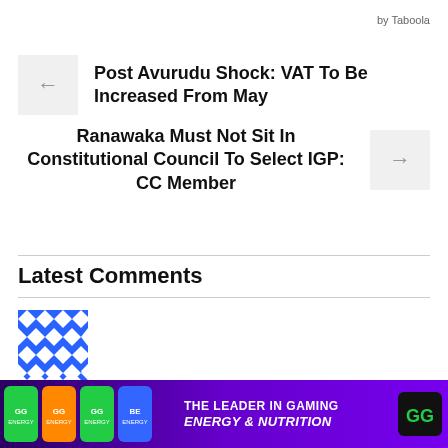by Taboola
Post Avurudu Shock: VAT To Be Increased From May
Ranawaka Must Not Sit In Constitutional Council To Select IGP: CC Member
Latest Comments
[Figure (illustration): Blue and white geometric pattern avatar icon for user 'sekara']
sekara / April 16, 2016
[Figure (photo): Advertisement banner: THE LEADER IN GAMING ENERGY & NUTRITION with colored energy drink cans on purple background]